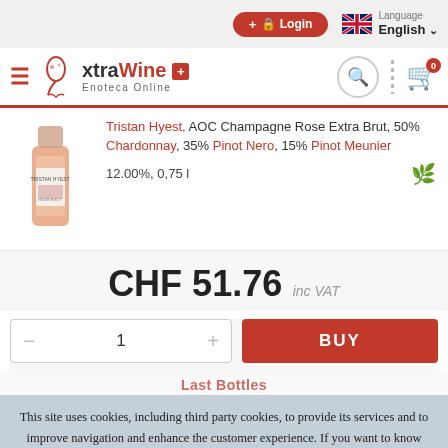[Figure (screenshot): Website top navigation bar with Login button, language selector showing English with UK flag]
[Figure (logo): xtraWine Enoteca Online logo with wine glass icon and Swiss cross]
Tristan Hyest, AOC Champagne Rose Extra Brut, 50% Chardonnay, 35% Pinot Nero, 15% Pinot Meunier
12.00%, 0,75 l
CHF 51.76 inc VAT
1
BUY
Last Bottles
This site uses cookies, including third party cookies, to provide its services and to improve navigation and enhance the customer experience. If you want to know more or to refuse consent to all or some cookies, click here. If you choose to continue browsing, you are confirming that you accept the use of cookies.
Ok